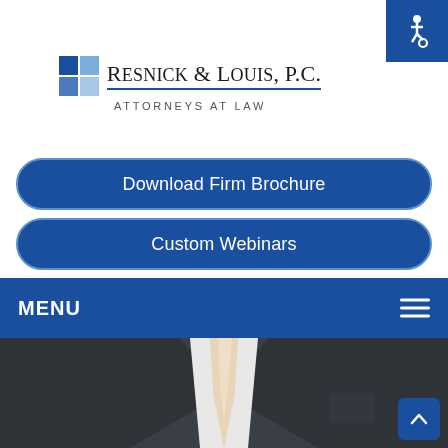[Figure (logo): Resnick & Louis, P.C. Attorneys at Law law firm logo with blue grid squares and firm name]
[Figure (illustration): Blue square with white accessibility wheelchair icon in top-right corner]
Download Firm Brochure
Custom Webinars
MENU
[Figure (photo): Close-up photo of a man in a dark charcoal suit with a white shirt and cream/beige tie]